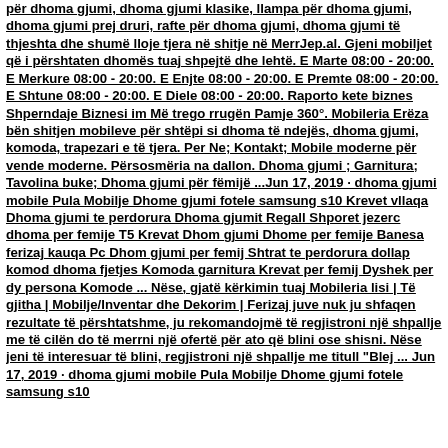për dhoma gjumi, dhoma gjumi klasike, llampa për dhoma gjumi, dhoma gjumi prej druri, rafte për dhoma gjumi, dhoma gjumi të thjeshta dhe shumë lloje tjera në shitje në MerrJep.al. Gjeni mobiljet që i përshtaten dhomës tuaj shpejtë dhe lehtë. E Marte 08:00 - 20:00. E Merkure 08:00 - 20:00. E Enjte 08:00 - 20:00. E Premte 08:00 - 20:00. E Shtune 08:00 - 20:00. E Diele 08:00 - 20:00. Raporto kete biznes Shperndaje Biznesi im Më trego rrugën Pamje 360°. Mobileria Erëza bën shitjen mobileve për shtëpi si dhoma të ndejës, dhoma gjumi, komoda, trapezari e të tjera. Per Ne; Kontakt; Mobile moderne për vende moderne. Përsosmëria na dallon. Dhoma gjumi ; Garnitura; Tavolina buke; Dhoma gjumi për fëmijë ...Jun 17, 2019 · dhoma gjumi mobile Pula Mobilje Dhome gjumi fotele samsung s10 Krevet vllaqa Dhoma gjumi te perdorura Dhoma gjumit Regall Shporet jezerc dhoma per femije T5 Krevat Dhom gjumi Dhome per femije Banesa ferizaj kauqa Pc Dhom gjumi per femij Shtrat te perdorura dollap komod dhoma fjetjes Komoda garnitura Krevat per femij Dyshek per dy persona Komode ... Nëse, gjatë kërkimin tuaj Mobileria lisi | Të gjitha | Mobilje/Inventar dhe Dekorim | Ferizaj juve nuk ju shfaqen rezultate të përshtatshme, ju rekomandojmë të regjistroni një shpallje me të cilën do të merrni një ofertë për ato që blini ose shisni. Nëse jeni të interesuar të blini, regjistroni një shpallje me titull "Blej ... Jun 17, 2019 · dhoma gjumi mobile Pula Mobilje Dhome gjumi fotele samsung s10